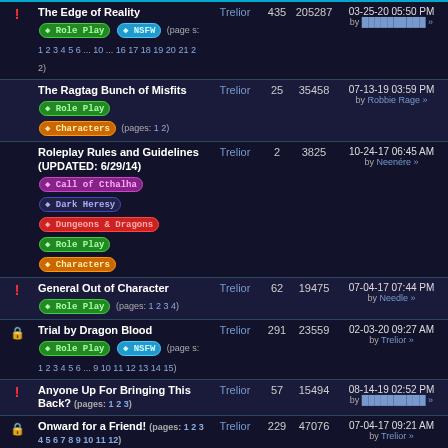|  | Topic | Author | Replies | Views | Last Post |
| --- | --- | --- | --- | --- | --- |
| ! | The Edge of Reality [Role Play][NSFW] (pages: 1 2 3 4 5 6 ... 10 ... 16 17 18 19 20 21 22) | Trelior | 435 | 205287 | 03-25-20 05:50 PM by [user] » |
|  | The Ragtag Bunch of Misfits [Role Play] [Characters] (pages: 1 2) | Trelior | 25 | 35458 | 07-13-19 03:59 PM by Robbie Rage » |
|  | Roleplay Rules and Guidelines (UPDATED: 6/29/14) [Call of Cthalha][Dark Heresy][Dungeons & Dragons][Role Play][Characters] | Trelior | 2 | 3825 | 10-24-17 06:45 AM by Neenére » |
| ! | General Out of Character [Role Play] (pages: 1 2 3 4) | Trelior | 62 | 19475 | 07-04-17 07:44 PM by Needle » |
| lock | Trial by Dragon Blood [Role Play][NSFW] (pages: 1 2 3 4 5 6 ... 9 10 11 12 13 14 15) | Trelior | 291 | 23559 | 02-03-20 09:27 AM by Trelior » |
| ! | Anyone Up For Bringing This Back? (pages: 1 2 3) | Trelior | 57 | 15494 | 08-14-19 02:52 PM by [user] » |
| lock | Onward for a Friend! (pages: 1 2 3 4 5 6 7 8 9 10 11 12) | Trelior | 229 | 47076 | 07-04-17 09:21 AM by Trelior » |
| lock | The Field of Dreams (Pushing up Daisies) [Role Play] (pages: 1 2) | Trelior | 35 | 15092 | 10-23-13 04:06 AM by [user] » |
| lock | (1) The Tavern [DEAD] [Role Play] (pages: 1 2 3 4 5 6) | Trelior | 107 | 42589 | 08-15-12 02:51 PM by Next Jen » |